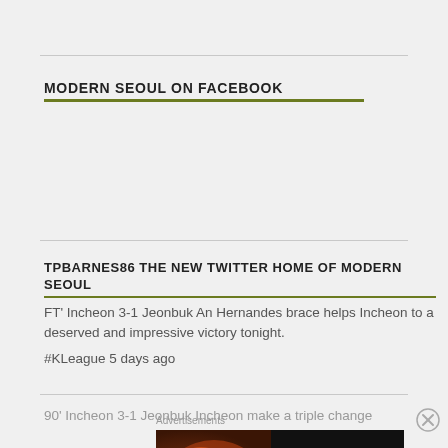MODERN SEOUL ON FACEBOOK
TPBARNES86 THE NEW TWITTER HOME OF MODERN SEOUL
FT' Incheon 3-1 Jeonbuk An Hernandes brace helps Incheon to a deserved and impressive victory tonight.
#KLeague 5 days ago
90' Incheon 3-1 Jeonbuk Incheon make a triple change
[Figure (other): Seamless food delivery advertisement banner with pizza image, Seamless logo in red, and ORDER NOW call-to-action button]